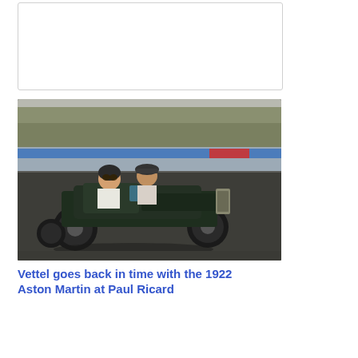[Figure (photo): Empty white card placeholder at top]
[Figure (photo): Vintage 1922 Aston Martin racing car on Paul Ricard circuit. Two people in period clothing (helmets, goggles, flat caps) are seated in the open-top dark green antique race car. The circuit's blue and red striped kerbs are visible in the background.]
Vettel goes back in time with the 1922 Aston Martin at Paul Ricard